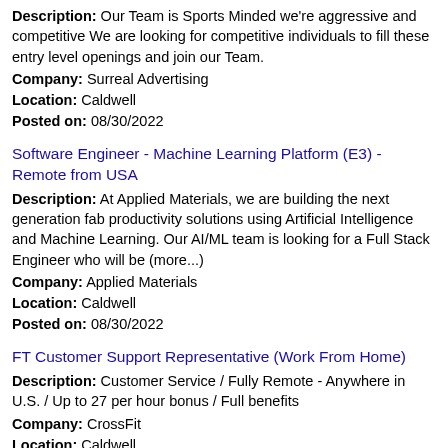Description: Our Team is Sports Minded we're aggressive and competitive We are looking for competitive individuals to fill these entry level openings and join our Team. Company: Surreal Advertising Location: Caldwell Posted on: 08/30/2022
Software Engineer - Machine Learning Platform (E3) - Remote from USA
Description: At Applied Materials, we are building the next generation fab productivity solutions using Artificial Intelligence and Machine Learning. Our AI/ML team is looking for a Full Stack Engineer who will be (more...) Company: Applied Materials Location: Caldwell Posted on: 08/30/2022
FT Customer Support Representative (Work From Home)
Description: Customer Service / Fully Remote - Anywhere in U.S. / Up to 27 per hour bonus / Full benefits Company: CrossFit Location: Caldwell Posted on: 08/30/2022